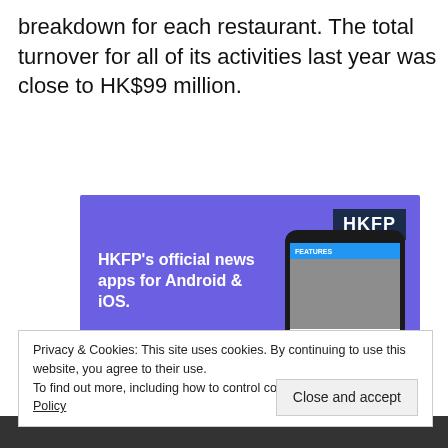breakdown for each restaurant. The total turnover for all of its activities last year was close to HK$99 million.
[Figure (screenshot): HKFP advertisement banner with purple background promoting HKFP's official news apps for Android & iOS, showing App Store and Google Play download buttons, with a phone screenshot of the HKFP app. HKFP logo in dark blue box top right.]
Privacy & Cookies: This site uses cookies. By continuing to use this website, you agree to their use.
To find out more, including how to control cookies, see here: Cookie Policy
Close and accept